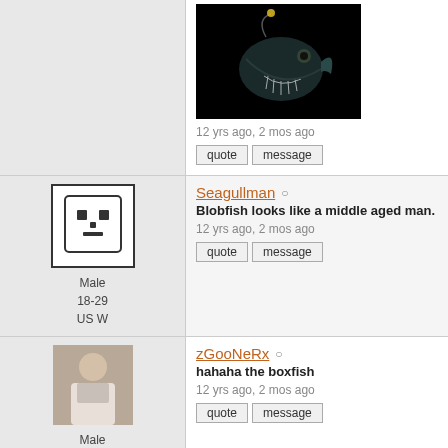[Figure (photo): Dark anglerfish photo on black background]
12 yrs ago, 2 mos ago
quote | message
Seagullman ○
Blobfish looks like a middle aged man.
12 yrs ago, 2 mos ago
quote | message
Male 18-29 US W
zGooNeRx ○
hahaha the boxfish
12 yrs ago, 2 mos ago
quote | message
Male 13-17 US E
x-funeral ○
On Saturday 6/19/10 - 6:15:20 PM Abzurd wrote: